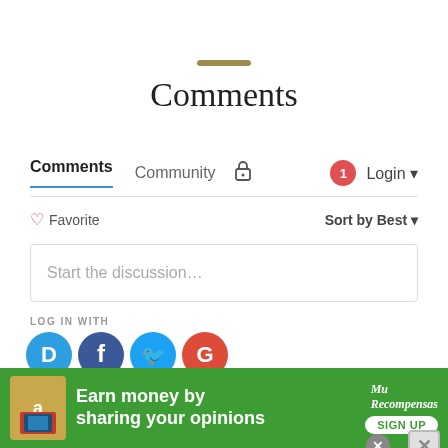Comments
Comments  Community  🔒  1  Login
♡ Favorite   Sort by Best
Start the discussion…
LOG IN WITH
[Figure (logo): Social login icons: Disqus (D), Facebook, Twitter, Google]
OR SIGN UP WITH DISQUS ?
[Figure (infographic): Advertisement banner: green background, Amazon logo, 'Earn money by sharing your opinions', MuRecompensas brand, SIGN UP button, close buttons]